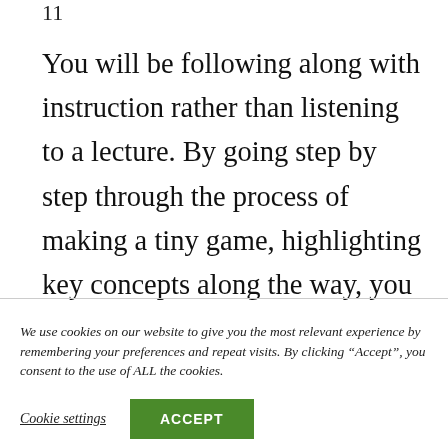11
You will be following along with instruction rather than listening to a lecture. By going step by step through the process of making a tiny game, highlighting key concepts along the way, you will gain more confidence and remember the lesson better.
We use cookies on our website to give you the most relevant experience by remembering your preferences and repeat visits. By clicking “Accept”, you consent to the use of ALL the cookies.
Cookie settings
ACCEPT